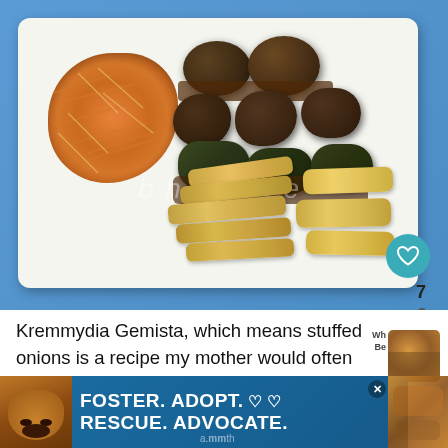[Figure (photo): A white plate with stuffed onions (Kremmydia Gemista) served with shredded carrot coleslaw, dark stuffed grape leaves in sauce, and roasted potato wedges, set against a blue background. A teal heart/like button shows count 7. Bottom shows a share icon.]
Kremmydia Gemista, which means stuffed onions is a recipe my mother would often make.  She w...a...th
[Figure (other): Advertisement banner: dog photo on left, text FOSTER. ADOPT. ♡♡ / RESCUE. ADVOCATE. in white bold on dark blue background, with X close button.]